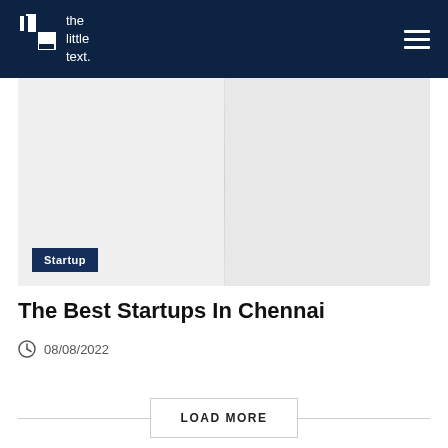[Figure (logo): The Little Text logo — white square-bracket icon with white text reading 'the little text.' on dark navy background]
[Figure (photo): Article hero image showing a light gray/white open book or notebook, with a dark navy 'Startup' category tag in the lower-left corner]
The Best Startups In Chennai
08/08/2022
LOAD MORE